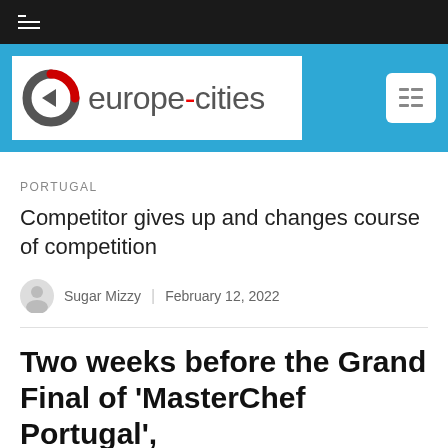europe-cities
PORTUGAL
Competitor gives up and changes course of competition
Sugar Mizzy | February 12, 2022
Two weeks before the Grand Final of 'MasterChef Portugal',